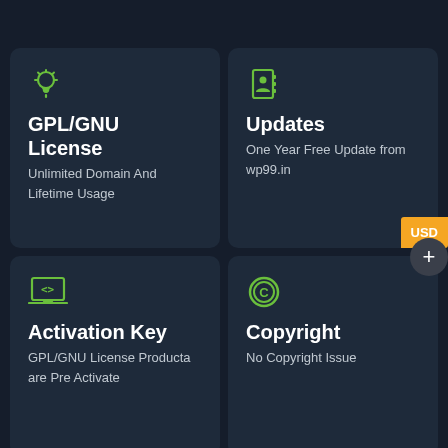[Figure (infographic): Card with lightbulb icon, title GPL/GNU License, subtitle Unlimited Domain And Lifetime Usage]
[Figure (infographic): Card with contact book icon, title Updates, subtitle One Year Free Update from wp99.in, with USD badge]
[Figure (infographic): Card with laptop/code icon, title Activation Key, subtitle GPL/GNU License Producta are Pre Activate]
[Figure (infographic): Card with copyright icon, title Copyright, subtitle No Copyright Issue, with plus button]